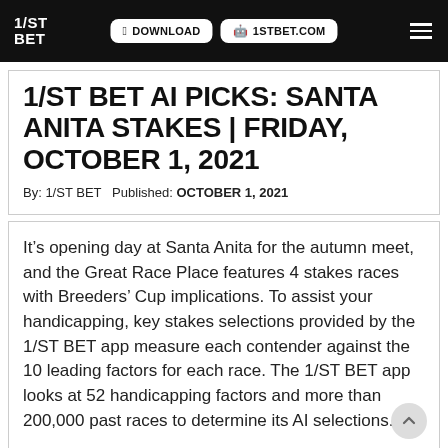1/ST BET | DOWNLOAD | 1STBET.COM
1/ST BET AI PICKS: SANTA ANITA STAKES | FRIDAY, OCTOBER 1, 2021
By: 1/ST BET   Published: OCTOBER 1, 2021
It’s opening day at Santa Anita for the autumn meet, and the Great Race Place features 4 stakes races with Breeders’ Cup implications. To assist your handicapping, key stakes selections provided by the 1/ST BET app measure each contender against the 10 leading factors for each race. The 1/ST BET app looks at 52 handicapping factors and more than 200,000 past races to determine its AI selections.